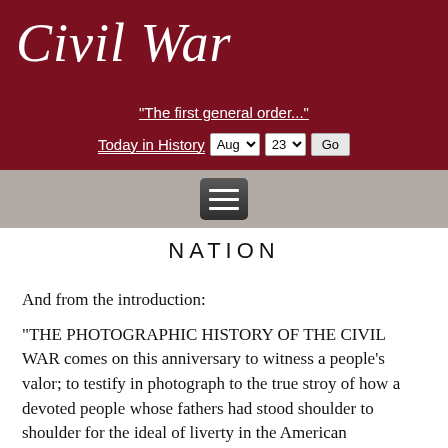Civil War
"The first general order..."
Today in History  Aug  23  Go
[Figure (other): Hamburger menu button (three horizontal lines on dark gray background)]
NATION
And from the introduction:
"THE PHOTOGRAPHIC HISTORY OF THE CIVIL WAR comes on this anniversary to witness a people's valor; to testify in photograph to the true stroy of how a devoted people whose fathers had stood shoulder to shoulder for the ideal of liverty in the American Revolution, who had issued to the world the declaration that all men are created politcially free and equal, who